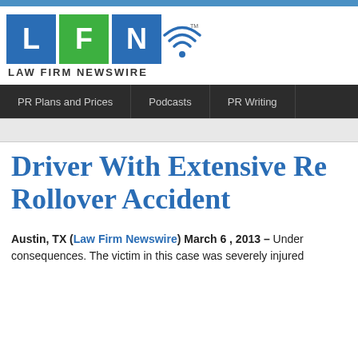[Figure (logo): Law Firm Newswire logo with blue L block, green F block, blue N block with wifi symbol, and wordmark LAW FIRM NEWSWIRE]
PR Plans and Prices | Podcasts | PR Writing
Driver With Extensive Re... Rollover Accident
Austin, TX (Law Firm Newswire) March 6 , 2013 – Under... consequences. The victim in this case was severely injured